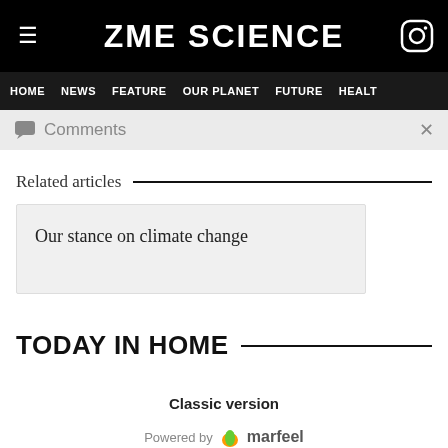ZME SCIENCE
HOME  NEWS  FEATURE  OUR PLANET  FUTURE  HEALT
Comments
Related articles
Our stance on climate change
TODAY IN HOME
Classic version
Powered by marfeel